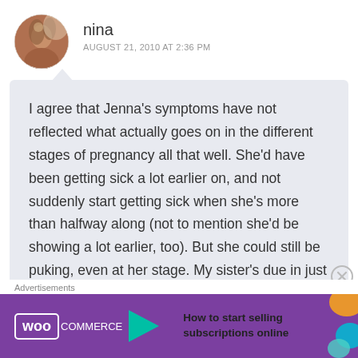[Figure (photo): Circular avatar photo of a person with reddish-brown hair, partially backlit]
nina
AUGUST 21, 2010 AT 2:36 PM
I agree that Jenna's symptoms have not reflected what actually goes on in the different stages of pregnancy all that well. She'd have been getting sick a lot earlier on, and not suddenly start getting sick when she's more than halfway along (not to mention she'd be showing a lot earlier, too). But she could still be puking, even at her stage. My sister's due in just under 2 months, and she still throws up every so often.
[Figure (screenshot): WooCommerce advertisement banner: 'How to start selling subscriptions online']